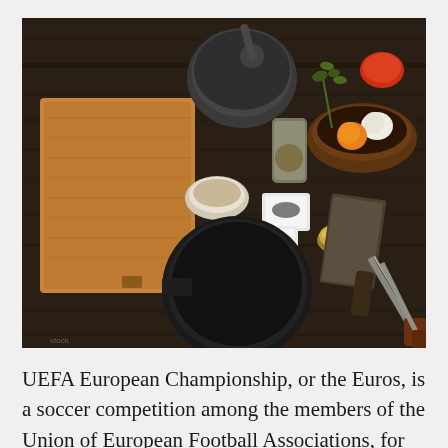[Figure (photo): Overhead flat-lay photo of cooking ingredients and kitchen tools on a dark wooden surface: a large stone mortar and pestle, a wooden cutting board, a black cast-iron pan, small white ceramic dishes with spices, a jar of spices, fresh herbs, an orange, a garlic bulb, a wooden bowl, a meat cleaver, and chef's knives.]
UEFA European Championship, or the Euros, is a soccer competition among the members of the Union of European Football Associations, for the continental